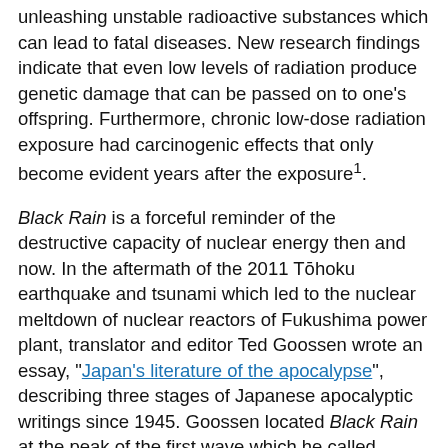unleashing unstable radioactive substances which can lead to fatal diseases. New research findings indicate that even low levels of radiation produce genetic damage that can be passed on to one's offspring. Furthermore, chronic low-dose radiation exposure had carcinogenic effects that only become evident years after the exposure¹.
Black Rain is a forceful reminder of the destructive capacity of nuclear energy then and now. In the aftermath of the 2011 Tōhoku earthquake and tsunami which led to the nuclear meltdown of nuclear reactors of Fukushima power plant, translator and editor Ted Goossen wrote an essay, "Japan's literature of the apocalypse", describing three stages of Japanese apocalyptic writings since 1945. Goossen located Black Rain at the peak of the first wave which he called "atomic-bomb literature".
"What narratives will emanate from the present tragedy?" asked Goossen at the end of his essay. While Japan and the world are still waiting for new apocalyptic narratives, I think the "piece of history" in Ibuse's novel is sufficient to give us warning. "History repeats", as the novelist Ōe Kenzaburo